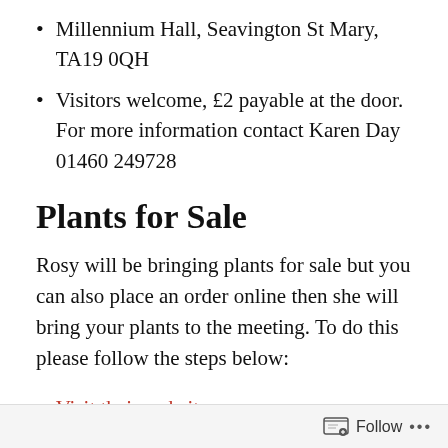Millennium Hall, Seavington St Mary, TA19 0QH
Visitors welcome, £2 payable at the door. For more information contact Karen Day 01460 249728
Plants for Sale
Rosy will be bringing plants for sale but you can also place an order online then she will bring your plants to the meeting. To do this please follow the steps below:
Visit their website
Select the plants you want and once you are
Follow